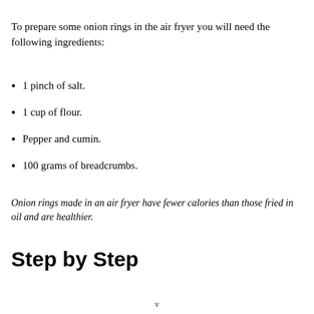To prepare some onion rings in the air fryer you will need the following ingredients:
1 pinch of salt.
1 cup of flour.
Pepper and cumin.
100 grams of breadcrumbs.
Onion rings made in an air fryer have fewer calories than those fried in oil and are healthier.
Step by Step
v